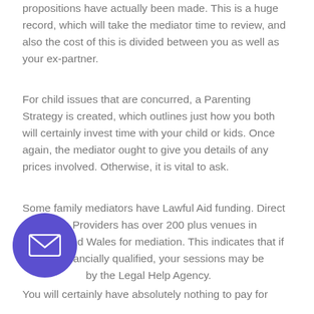propositions have actually been made. This is a huge record, which will take the mediator time to review, and also the cost of this is divided between you as well as your ex-partner.
For child issues that are concurred, a Parenting Strategy is created, which outlines just how you both will certainly invest time with your child or kids. Once again, the mediator ought to give you details of any prices involved. Otherwise, it is vital to ask.
Some family mediators have Lawful Aid funding. Direct Mediation Providers has over 200 plus venues in England and Wales for mediation. This indicates that if you are financially qualified, your sessions may be [covered] by the Legal Help Agency.
You will certainly have absolutely nothing to pay for